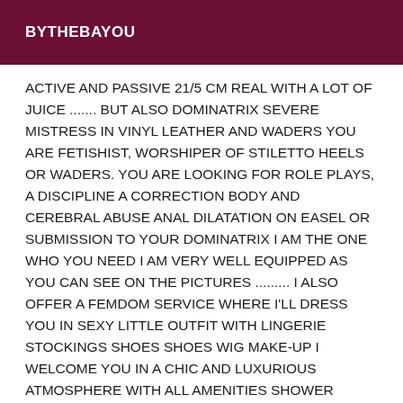BYTHEBAYOU
ACTIVE AND PASSIVE 21/5 CM REAL WITH A LOT OF JUICE ....... BUT ALSO DOMINATRIX SEVERE MISTRESS IN VINYL LEATHER AND WADERS YOU ARE FETISHIST, WORSHIPER OF STILETTO HEELS OR WADERS. YOU ARE LOOKING FOR ROLE PLAYS, A DISCIPLINE A CORRECTION BODY AND CEREBRAL ABUSE ANAL DILATATION ON EASEL OR SUBMISSION TO YOUR DOMINATRIX I AM THE ONE WHO YOU NEED I AM VERY WELL EQUIPPED AS YOU CAN SEE ON THE PICTURES ......... I ALSO OFFER A FEMDOM SERVICE WHERE I'LL DRESS YOU IN SEXY LITTLE OUTFIT WITH LINGERIE STOCKINGS SHOES SHOES WIG MAKE-UP I WELCOME YOU IN A CHIC AND LUXURIOUS ATMOSPHERE WITH ALL AMENITIES SHOWER PARKING A SMALL DRINK OR COFFEE WILL BE OFFERED TO YOU TO MEET US AND DEFINE YOUR DESIRES